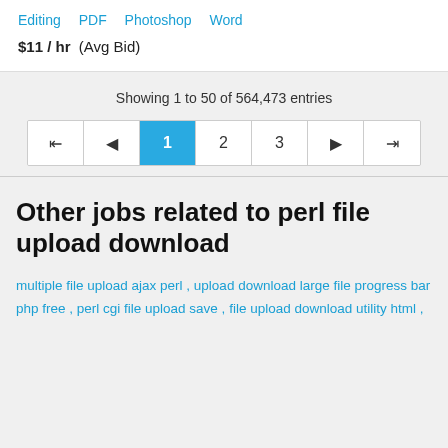Editing  PDF  Photoshop  Word
$11 / hr  (Avg Bid)
Showing 1 to 50 of 564,473 entries
[Figure (other): Pagination control with buttons: first page, previous, page 1 (active/highlighted in blue), page 2, page 3, next, last page]
Other jobs related to perl file upload download
multiple file upload ajax perl , upload download large file progress bar php free , perl cgi file upload save , file upload download utility html ,